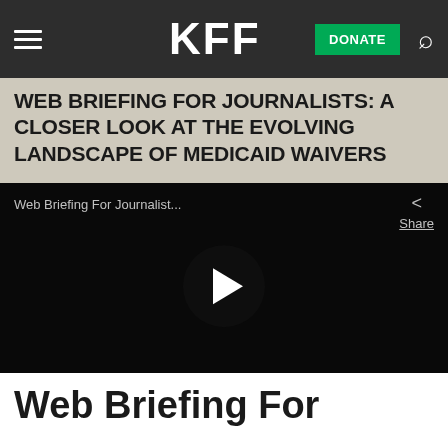KFF | DONATE
WEB BRIEFING FOR JOURNALISTS: A CLOSER LOOK AT THE EVOLVING LANDSCAPE OF MEDICAID WAIVERS
[Figure (screenshot): Embedded video player with dark background showing title 'Web Briefing For Journalist...' with share button and play button overlay]
Web Briefing For